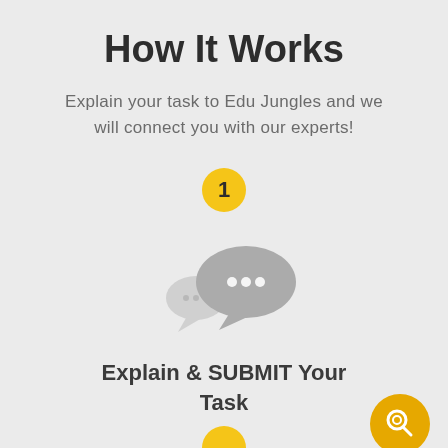How It Works
Explain your task to Edu Jungles and we will connect you with our experts!
[Figure (infographic): Yellow circle with number 1 inside, representing step 1]
[Figure (illustration): Two chat bubble icons in gray, one larger with three dots (typing indicator) and one smaller, indicating communication]
Explain & SUBMIT Your Task
[Figure (illustration): Orange circle with a search/magnifier icon in the bottom right corner]
[Figure (illustration): Yellow semicircle at the bottom center, partially visible, representing next step indicator]